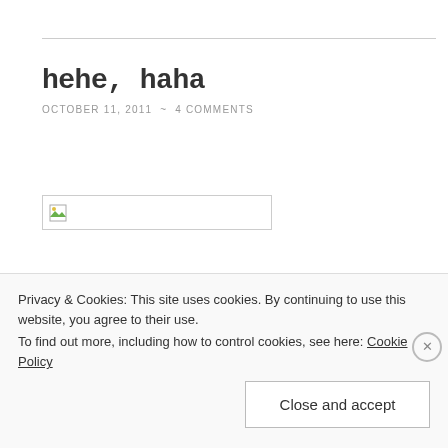hehe, haha
OCTOBER 11, 2011 ~ 4 COMMENTS
[Figure (photo): Broken/unloaded image placeholder with small image icon on the left]
Privacy & Cookies: This site uses cookies. By continuing to use this website, you agree to their use.
To find out more, including how to control cookies, see here: Cookie Policy
Close and accept